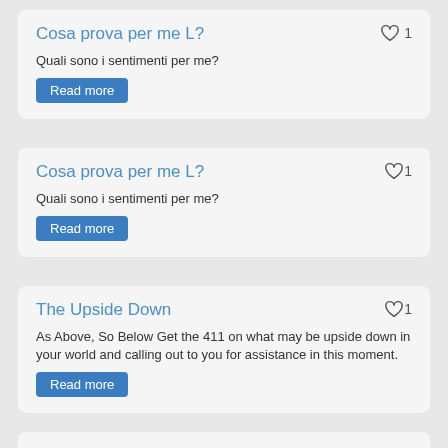Cosa prova per me L?
Quali sono i sentimenti per me?
Read more
Cosa prova per me L?
Quali sono i sentimenti per me?
Read more
The Upside Down
As Above, So Below Get the 411 on what may be upside down in your world and calling out to you for assistance in this moment.
Read more